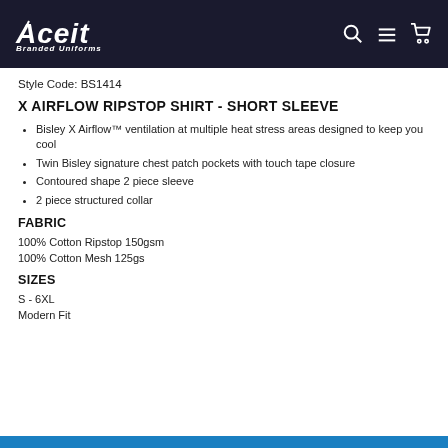Aceit Branded Uniforms — WORK / SPORT / PROMO
Style Code: BS1414
X AIRFLOW RIPSTOP SHIRT - SHORT SLEEVE
Bisley X Airflow™ ventilation at multiple heat stress areas designed to keep you cool
Twin Bisley signature chest patch pockets with touch tape closure
Contoured shape 2 piece sleeve
2 piece structured collar
FABRIC
100% Cotton Ripstop 150gsm
100% Cotton Mesh 125gs
SIZES
S - 6XL
Modern Fit